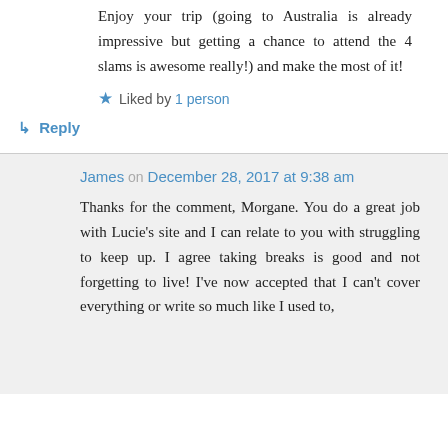Enjoy your trip (going to Australia is already impressive but getting a chance to attend the 4 slams is awesome really!) and make the most of it!
★ Liked by 1 person
↳ Reply
James on December 28, 2017 at 9:38 am
Thanks for the comment, Morgane. You do a great job with Lucie's site and I can relate to you with struggling to keep up. I agree taking breaks is good and not forgetting to live! I've now accepted that I can't cover everything or write so much like I used to, which is not an easy point for me. I'll try and